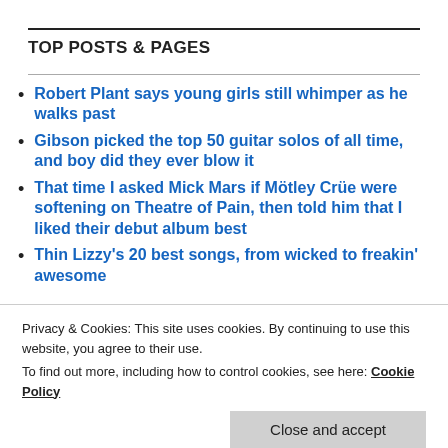TOP POSTS & PAGES
Robert Plant says young girls still whimper as he walks past
Gibson picked the top 50 guitar solos of all time, and boy did they ever blow it
That time I asked Mick Mars if Mötley Crüe were softening on Theatre of Pain, then told him that I liked their debut album best
Thin Lizzy's 20 best songs, from wicked to freakin' awesome
Privacy & Cookies: This site uses cookies. By continuing to use this website, you agree to their use.
To find out more, including how to control cookies, see here: Cookie Policy
Close and accept
Greatest Guitarists (that I've interviewed) and 50